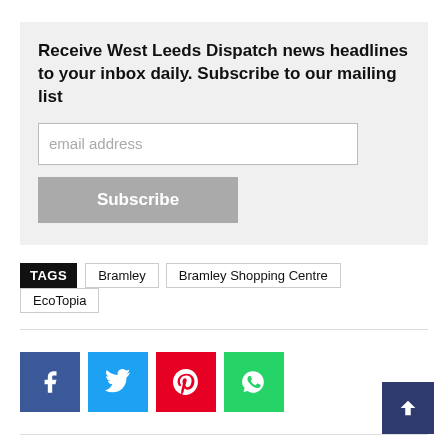Receive West Leeds Dispatch news headlines to your inbox daily. Subscribe to our mailing list
email address
Subscribe
TAGS  Bramley  Bramley Shopping Centre  EcoTopia
[Figure (infographic): Social share buttons: Facebook (blue), Twitter (cyan), Pinterest (red), WhatsApp (green)]